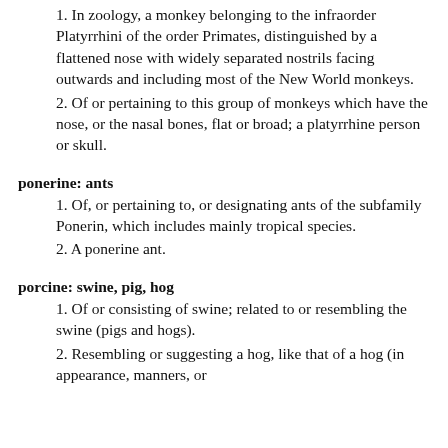1. In zoology, a monkey belonging to the infraorder Platyrrhini of the order Primates, distinguished by a flattened nose with widely separated nostrils facing outwards and including most of the New World monkeys.
2. Of or pertaining to this group of monkeys which have the nose, or the nasal bones, flat or broad; a platyrrhine person or skull.
ponerine: ants
1. Of, or pertaining to, or designating ants of the subfamily Ponerin, which includes mainly tropical species.
2. A ponerine ant.
porcine: swine, pig, hog
1. Of or consisting of swine; related to or resembling the swine (pigs and hogs).
2. Resembling or suggesting a hog, like that of a hog (in appearance, manners, or